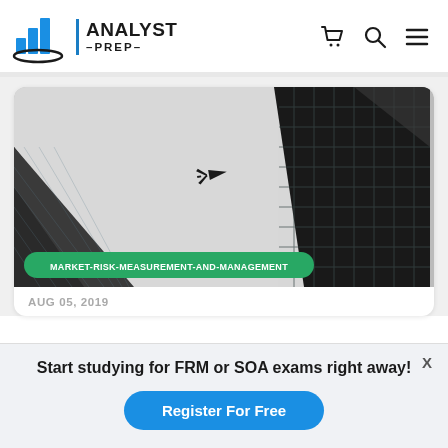[Figure (logo): AnalystPrep logo with blue bar chart icon and blue vertical bar separator, company name ANALYST PREP in bold dark text]
[Figure (photo): Upward-angled photo of tall glass skyscrapers and a plane flying overhead against a grey sky, with tag MARKET-RISK-MEASUREMENT-AND-MANAGEMENT in green rounded pill]
AUG 05, 2019
Start studying for FRM or SOA exams right away!
Register For Free